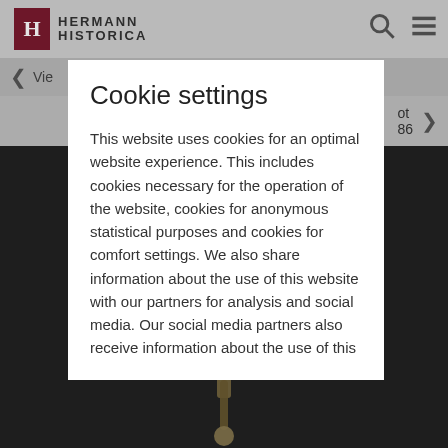HERMANN HISTORICA
Vie...
ot 86
[Figure (photo): Antique sword/saber photographed against dark background]
Cookie settings
This website uses cookies for an optimal website experience. This includes cookies necessary for the operation of the website, cookies for anonymous statistical purposes and cookies for comfort settings. We also share information about the use of this website with our partners for analysis and social media. Our social media partners also receive information about the use of this